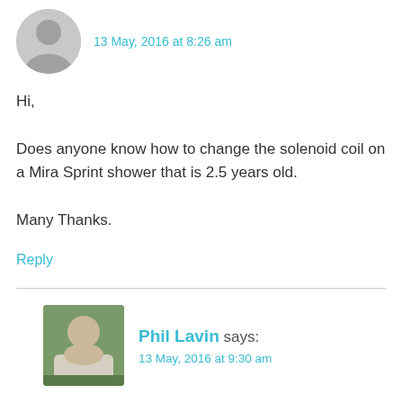13 May, 2016 at 8:26 am
Hi,

Does anyone know how to change the solenoid coil on a Mira Sprint shower that is 2.5 years old.

Many Thanks.
Reply
Phil Lavin says:
13 May, 2016 at 9:30 am
Open it up and upload some photos. Shouldn't